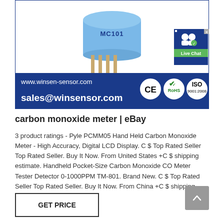[Figure (photo): Blue cylindrical carbon monoxide sensor labeled MC101 with gold pins, CE, RoHS, and ISO 9001:2008 certification badges, displayed on white background with dark blue banner showing website www.winsen-sensor.com and email sales@winsensor.com. Live Chat button overlay in top right.]
carbon monoxide meter | eBay
3 product ratings - Pyle PCMM05 Hand Held Carbon Monoxide Meter - High Accuracy, Digital LCD Display. C $ Top Rated Seller Top Rated Seller. Buy It Now. From United States +C $ shipping estimate. Handheld Pocket-Size Carbon Monoxide CO Meter Tester Detector 0-1000PPM TM-801. Brand New. C $ Top Rated Seller Top Rated Seller. Buy It Now. From China +C $ shipping. Carbon ...
GET PRICE